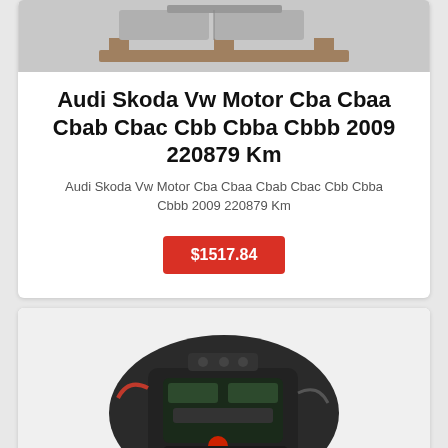[Figure (photo): Product image of engine or mechanical part on wooden pallet, top portion visible, gray/brown tones]
Audi Skoda Vw Motor Cba Cbaa Cbab Cbac Cbb Cbba Cbbb 2009 220879 Km
Audi Skoda Vw Motor Cba Cbaa Cbab Cbac Cbb Cbba Cbbb 2009 220879 Km
$1517.84
[Figure (photo): Used automotive engine (disassembled/bare engine block) photographed from the front, black and dark green tones, red component visible on front]